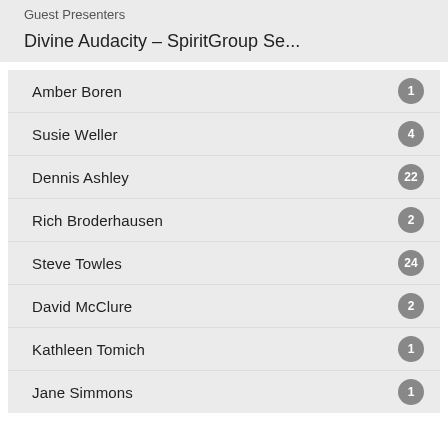Guest Presenters
Divine Audacity – SpiritGroup Se...
Amber Boren
Susie Weller
Dennis Ashley
Rich Broderhausen
Steve Towles
David McClure
Kathleen Tomich
Jane Simmons